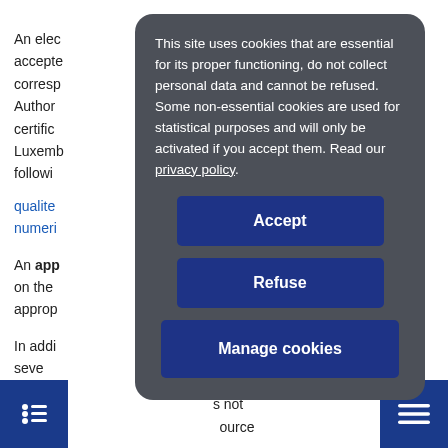An elec... accepted... corresp... on Authority... edited certific... te. In Luxemb... followi...
qualite... /confiance numeri...
An approved... system on the... approp...
In addi... panied seve... n.
Lastly,... s not used, t... ource
[Figure (screenshot): Cookie consent modal overlay with dark gray rounded background. Contains text: 'This site uses cookies that are essential for its proper functioning, do not collect personal data and cannot be refused. Some non-essential cookies are used for statistical purposes and will only be activated if you accept them. Read our privacy policy.' Three buttons: Accept, Refuse, Manage cookies (all dark blue).]